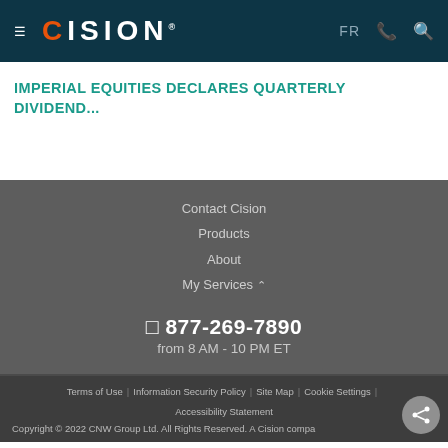CISION — FR (phone) (search)
IMPERIAL EQUITIES DECLARES QUARTERLY DIVIDEND...
Contact Cision
Products
About
My Services
877-269-7890
from 8 AM - 10 PM ET
Terms of Use | Information Security Policy | Site Map | Cookie Settings | Accessibility Statement
Copyright © 2022 CNW Group Ltd. All Rights Reserved. A Cision company